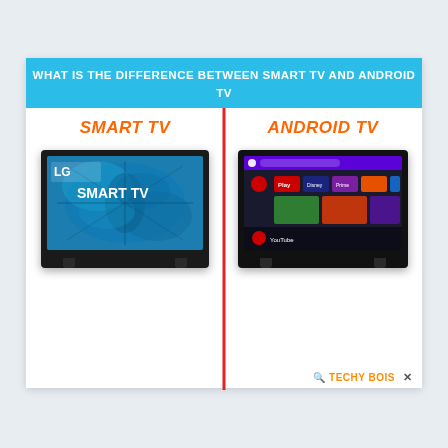[Figure (infographic): Infographic comparing Smart TV vs Android TV. A cyan/blue banner header reads 'WHAT IS THE DIFFERENCE BETWEEN SMART TV AND ANDROID TV'. Below, split into two columns by a red vertical divider: left side shows 'SMART TV' in orange italic bold text with an LG Smart TV image; right side shows 'ANDROID TV' in orange italic bold text with an Android TV interface image. Bottom right has 'TECHY BOIS' branding logo.]